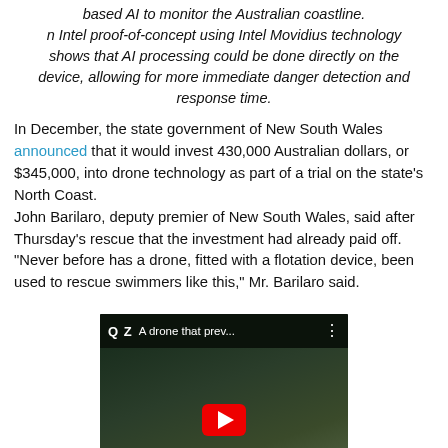based AI to monitor the Australian coastline.
n Intel proof-of-concept using Intel Movidius technology shows that AI processing could be done directly on the device, allowing for more immediate danger detection and response time.
In December, the state government of New South Wales announced that it would invest 430,000 Australian dollars, or $345,000, into drone technology as part of a trial on the state's North Coast.
John Barilaro, deputy premier of New South Wales, said after Thursday's rescue that the investment had already paid off.
"Never before has a drone, fitted with a flotation device, been used to rescue swimmers like this," Mr. Barilaro said.
[Figure (screenshot): YouTube video thumbnail with QZ logo and title 'A drone that prev...' with a play button overlay on a dark green background]